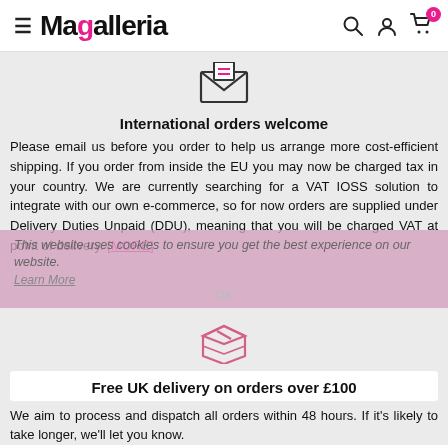Magalleria
[Figure (illustration): Open envelope icon with lines representing a letter inside]
International orders welcome
Please email us before you order to help us arrange more cost-efficient shipping. If you order from inside the EU you may now be charged tax in your country. We are currently searching for a VAT IOSS solution to integrate with our own e-commerce, so for now orders are supplied under Delivery Duties Unpaid (DDU), meaning that you will be charged VAT at point of delivery. [MORE]
This website uses cookies to ensure you get the best experience on our website.
Learn More
[Figure (illustration): Pink package/box delivery icon]
Free UK delivery on orders over £100
We aim to process and dispatch all orders within 48 hours. If it's likely to take longer, we'll let you know.